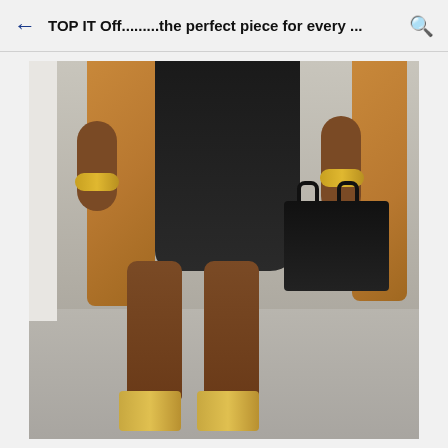TOP IT Off.........the perfect piece for every ...
[Figure (photo): Fashion photo showing a person from the neck down wearing a black dress, camel coat, gold bracelets on both wrists, gold strappy heels, and carrying a black structured handbag. The background is a light gray/concrete wall and floor.]